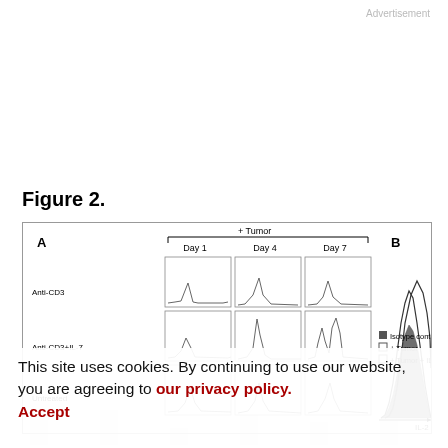Advertisement
Figure 2.
[Figure (other): Panel A: Flow cytometry histograms showing Anti-CD3, Anti-CD3+IL-7, and Untreated conditions at Day 1, Day 4, and Day 7 with +Tumor label. Panel B: Overlaid histograms showing Isotype control (filled), +Tumor (open), and +Tumor + IL-7 (open) with IL-2 on x-axis.]
This site uses cookies. By continuing to use our website, you are agreeing to our privacy policy.
Accept